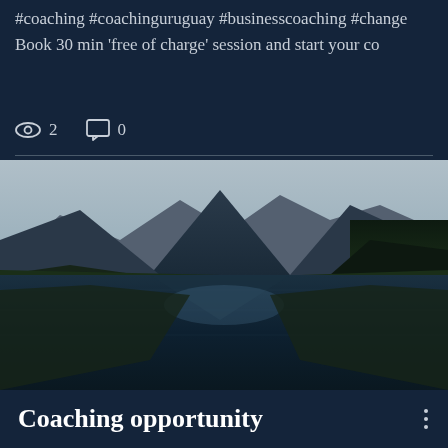#coaching #coachinguruguay #businesscoaching #change Book 30 min 'free of charge' session and start your co
2  0
[Figure (photo): Mountain lake landscape with reflections of mountains and trees in still water, flanked by dense forest on both sides and dramatic rocky peaks in the background.]
Coaching opportunity
Coaching sessions provide us with a space to stop, share what is happening to us, what worries us, what we want to achieve, our